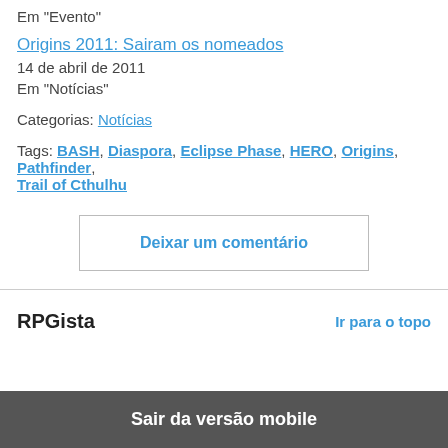Em "Evento"
Origins 2011: Sairam os nomeados
14 de abril de 2011
Em "Notícias"
Categorias: Notícias
Tags: BASH, Diaspora, Eclipse Phase, HERO, Origins, Pathfinder, Trail of Cthulhu
Deixar um comentário
RPGista
Ir para o topo
Sair da versão mobile